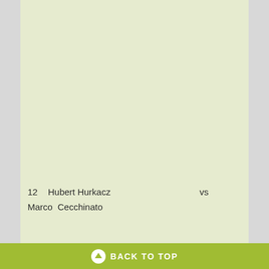12   Hubert Hurkacz   vs
Marco  Cecchinato
BACK TO TOP